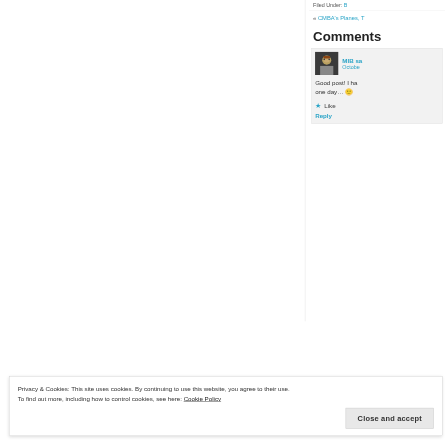Filed Under: [link]
« CMBA's Planes, T
Comments
MIB sa... October
Good post! I ha... one day... 🙂
★ Like
Reply
Privacy & Cookies: This site uses cookies. By continuing to use this website, you agree to their use.
To find out more, including how to control cookies, see here: Cookie Policy
Close and accept